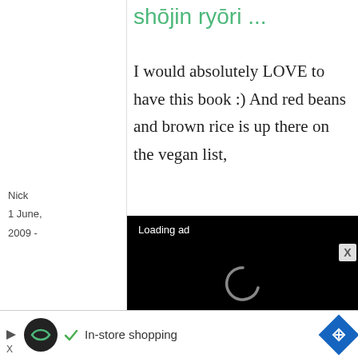shōjin ryōri ...
I would absolutely LOVE to have this book :) And red beans and brown rice is up there on the vegan list,
[Figure (screenshot): Black video ad overlay showing 'Loading ad' text, a spinning loading icon, and media controls (pause, expand, mute) at the bottom]
Re: Book review: The
Nick
1 June, 2009 -
[Figure (screenshot): Bottom advertisement bar with play button, circular logo, checkmark, 'In-store shopping' text, and blue diamond navigation icon, with X close button]